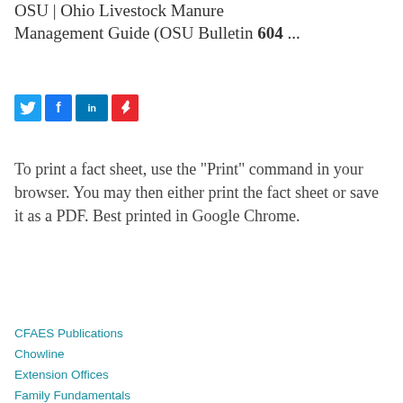OSU | Ohio Livestock Manure Management Guide (OSU Bulletin 604 ...
[Figure (other): Social sharing icons: Twitter (blue), Facebook (blue), LinkedIn (blue), AddThis (red)]
To print a fact sheet, use the "Print" command in your browser. You may then either print the fact sheet or save it as a PDF. Best printed in Google Chrome.
CFAES Publications
Chowline
Extension Offices
Family Fundamentals